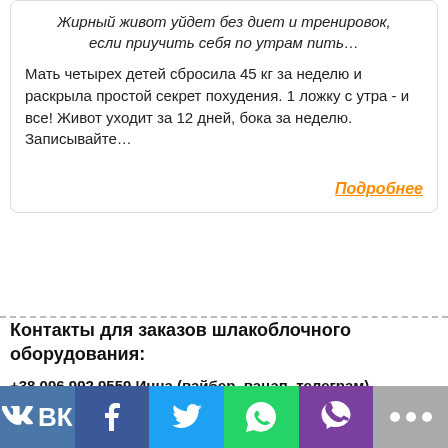Жирный живот уйдет без диет и тренировок, если приучить себя по утрам пить…
Мать четырех детей сбросила 45 кг за неделю и раскрыла простой секрет похудения. 1 ложку с утра - и все! Живот уходит за 12 дней, бока за неделю. Записывайте…
Подробнее
Контакты для заказов шлакоблочного оборудования:
+38 096 992 9559 Инна (вайбер, вацап, телеграм)
Эл. почта: inna@msd.com.ua
Любые материалы сайта можно публиковать с ссылкой на источник.
© 1999–2019 Карта сайта